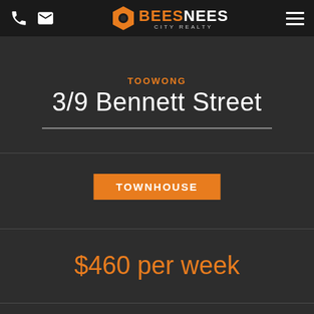BEES NEES CITY REALTY
TOOWONG
3/9 Bennett Street
TOWNHOUSE
$460 per week